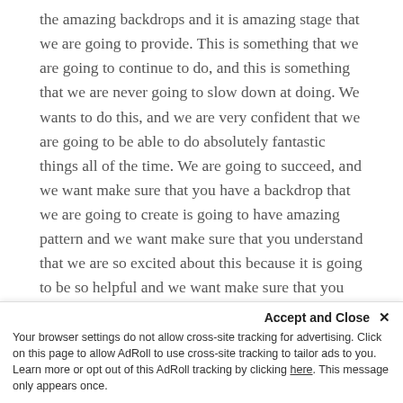the amazing backdrops and it is amazing stage that we are going to provide. This is something that we are going to continue to do, and this is something that we are never going to slow down at doing. We wants to do this, and we are very confident that we are going to be able to do absolutely fantastic things all of the time. We are going to succeed, and we want make sure that you have a backdrop that we are going to create is going to have amazing pattern and we want make sure that you understand that we are so excited about this because it is going to be so helpful and we want make sure that you understand that you should deftly take the next step in and paragraph we are definitely going to discuss want the next of these.
once and this are something you should deftly...
Accept and Close ×
Your browser settings do not allow cross-site tracking for advertising. Click on this page to allow AdRoll to use cross-site tracking to tailor ads to you. Learn more or opt out of this AdRoll tracking by clicking here. This message only appears once.